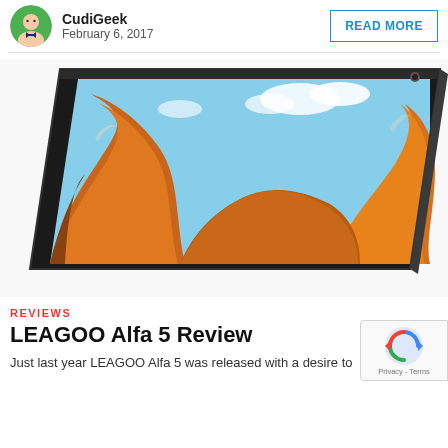CudiGeek  February 6, 2017  READ MORE
[Figure (photo): Angled top-down view of a smartphone displaying a desert rock formation wallpaper (orange sandstone waves and blue sky), shown against a white background.]
REVIEWS
LEAGOO Alfa 5 Review
Just last year LEAGOO Alfa 5 was released with a desire to